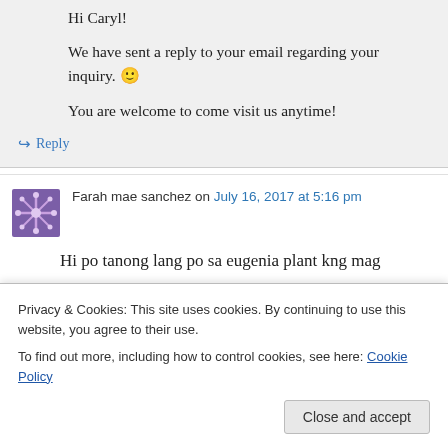Hi Caryl!
We have sent a reply to your email regarding your inquiry. 🙂
You are welcome to come visit us anytime!
↪ Reply
Farah mae sanchez on July 16, 2017 at 5:16 pm
Hi po tanong lang po sa eugenia plant kng mag
Privacy & Cookies: This site uses cookies. By continuing to use this website, you agree to their use. To find out more, including how to control cookies, see here: Cookie Policy
Close and accept